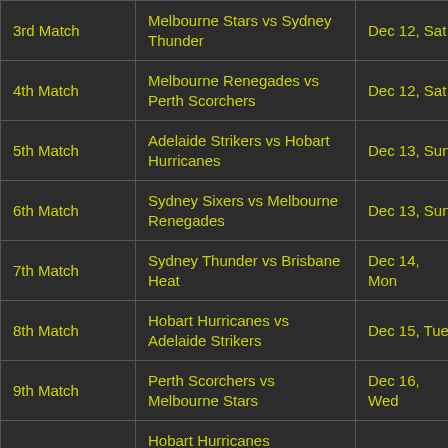| Match | Teams | Date | Venue |
| --- | --- | --- | --- |
| 3rd Match | Melbourne Stars vs Sydney Thunder | Dec 12, Sat | Canberra |
| 4th Match | Melbourne Renegades vs Perth Scorchers | Dec 12, Sat | Hobart |
| 5th Match | Adelaide Strikers vs Hobart Hurricanes | Dec 13, Sun | Hobart |
| 6th Match | Sydney Sixers vs Melbourne Renegades | Dec 13, Sun | Hobart |
| 7th Match | Sydney Thunder vs Brisbane Heat | Dec 14, Mon | Canberra |
| 8th Match | Hobart Hurricanes vs Adelaide Strikers | Dec 15, Tue | Launceston |
| 9th Match | Perth Scorchers vs Melbourne Stars | Dec 16, Wed | Launceston |
|  | Hobart Hurricanes |  |  |